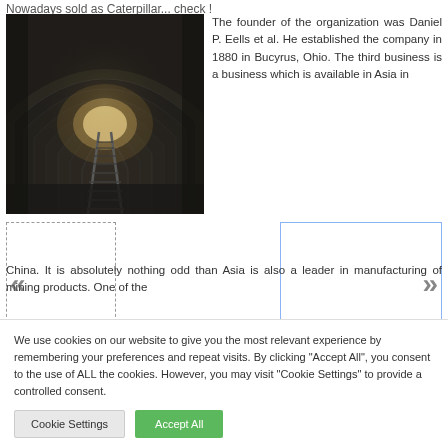Nowadays sold as Caterpillar... check !
[Figure (photo): Black and white photo of a underground mine tunnel with railway tracks leading into the distance, brick arched ceiling with a light at the end.]
The founder of the organization was Daniel P. Eells et al. He established the company in 1880 in Bucyrus, Ohio. The third business is a business which is available in Asia in China. It is absolutely nothing odd than Asia is also a leader in manufacturing of mining products. One of the
We use cookies on our website to give you the most relevant experience by remembering your preferences and repeat visits. By clicking "Accept All", you consent to the use of ALL the cookies. However, you may visit "Cookie Settings" to provide a controlled consent.